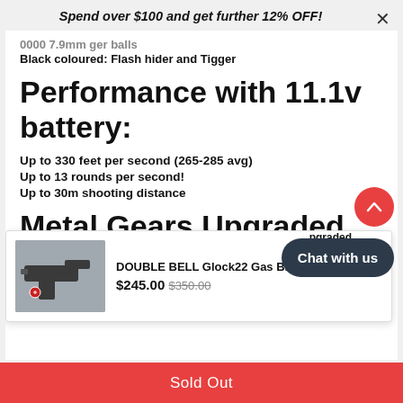Spend over $100 and get further 12% OFF!
0000 7.9mm ger balls
Black coloured: Flash hider and Tigger
Performance with 11.1v battery:
Up to 330 feet per second (265-285 avg)
Up to 13 rounds per second!
Up to 30m shooting distance
Metal Gears Upgraded Versions Package Includes:
[Figure (screenshot): Product popup showing a Glock pistol image with title 'DOUBLE BELL Glock22 Gas Bl...' priced at $245.00 (was $350.00), with a close button, scroll-up button, and Chat with us button.]